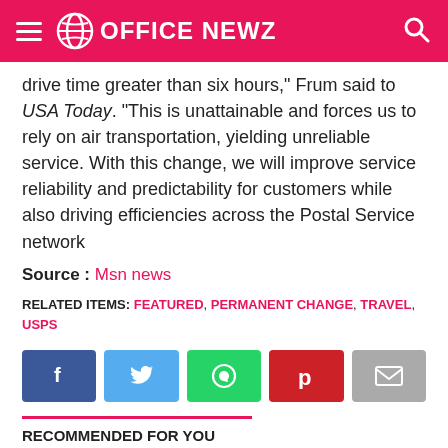OFFICE NEWZ
drive time greater than six hours," Frum said to USA Today. "This is unattainable and forces us to rely on air transportation, yielding unreliable service. With this change, we will improve service reliability and predictability for customers while also driving efficiencies across the Postal Service network
Source : Msn news
RELATED ITEMS: FEATURED, PERMANENT CHANGE, TRAVEL, USPS
[Figure (other): Social share buttons: Facebook, Twitter, WhatsApp, Pinterest, Email]
RECOMMENDED FOR YOU
Flight Bookings to Hong Kong Surge 249% After Quarantine Cut